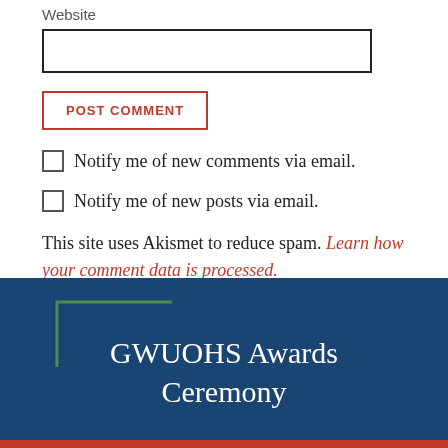Website
POST COMMENT
Notify me of new comments via email.
Notify me of new posts via email.
This site uses Akismet to reduce spam. Learn how your comment data is processed.
[Figure (logo): GWUOHS Awards Ceremony banner with dark blue background, green corner bracket decoration, and white serif text reading 'GWUOHS Awards Ceremony']